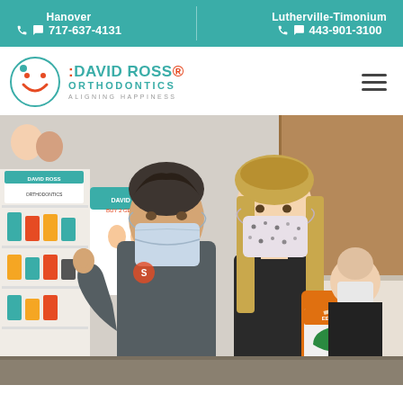Hanover 717-637-4131 | Lutherville-Timonium 443-901-3100
[Figure (logo): David Ross Orthodontics logo with smiley face circle icon, brand name in red/teal, tagline ALIGNING HAPPINESS]
[Figure (photo): Orthodontist and young girl patient both wearing face masks, giving thumbs up in orthodontics office. Girl is holding an orange mouthguard package. Office shelves visible in background with David Ross Orthodontics signage.]